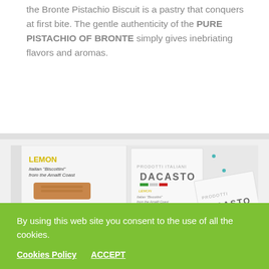the Bronte Pistachio Biscuit is a pastry that conquers at first bite. The gentle authenticity of the PURE PISTACHIO OF BRONTE simply gives inebriating flavors and aromas.
[Figure (photo): Product photo showing Dacasto Lemon Italian Biscottini from the Amalfi Coast packaging — a tall box on the left showing lemon and biscuit imagery, and two smaller flat packages on the right also branded Dacasto with Italian flag colors.]
By using this web site you consent to the use of all the cookies.
Cookies Policy   ACCEPT